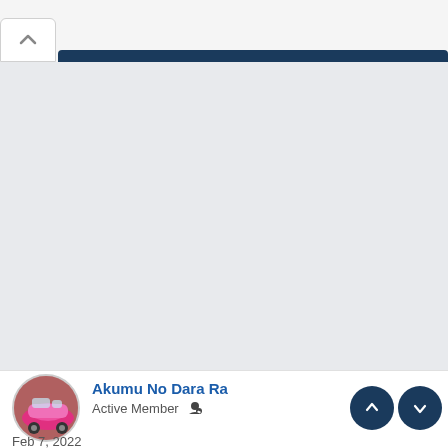[Figure (screenshot): UI collapse/expand button with upward chevron icon, and a dark navy blue header bar partially visible to the right]
[Figure (photo): Large light gray empty content area, likely a collapsed panel or loading area]
Akumu No Dara Ra
Active Member
Feb 7, 2022